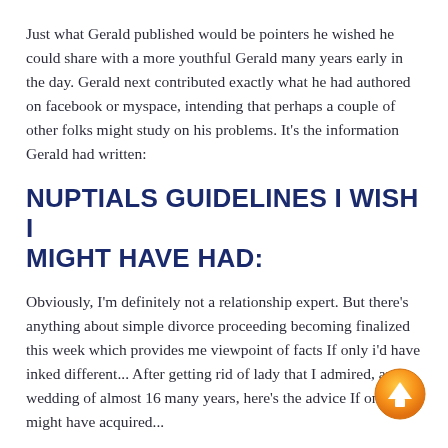Just what Gerald published would be pointers he wished he could share with a more youthful Gerald many years early in the day. Gerald next contributed exactly what he had authored on facebook or myspace, intending that perhaps a couple of other folks might study on his problems. It's the information Gerald had written:
NUPTIALS GUIDELINES I WISH I MIGHT HAVE HAD:
Obviously, I'm definitely not a relationship expert. But there's anything about simple divorce proceeding becoming finalized this week which provides me viewpoint of facts If only i'd have inked different... After getting rid of lady that I admired, and a wedding of almost 16 many years, here's the advice If only i might have acquired...
1) Never halt courting. Never ever quit going out with. NEVER EVER grab that girl for granted. After you expected
[Figure (other): Orange circular button with white upward arrow, a scroll-to-top navigation button]